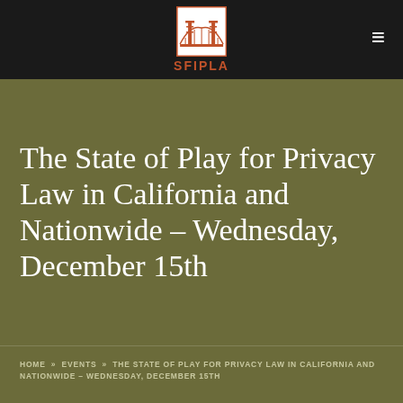[Figure (logo): SFIPLA logo showing golden gate bridge icon in orange/red on white square background with 'SFIPLA' text below in orange]
The State of Play for Privacy Law in California and Nationwide – Wednesday, December 15th
HOME » EVENTS » THE STATE OF PLAY FOR PRIVACY LAW IN CALIFORNIA AND NATIONWIDE – WEDNESDAY, DECEMBER 15TH